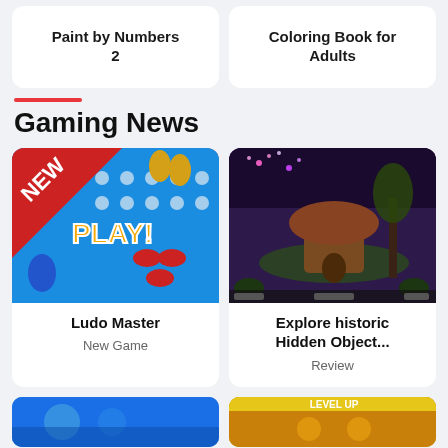Paint by Numbers 2
Coloring Book for Adults
Gaming News
[Figure (screenshot): Ludo Master game screenshot with NEW banner and PLAY! text on a blue board with game pieces]
Ludo Master
New Game
[Figure (screenshot): Fantasy hidden object game scene with mushroom house, fireworks, dark forest environment]
Explore historic Hidden Object...
Review
[Figure (screenshot): Bottom left game thumbnail - blue toned]
[Figure (screenshot): Bottom right game thumbnail - gold/yellow toned]